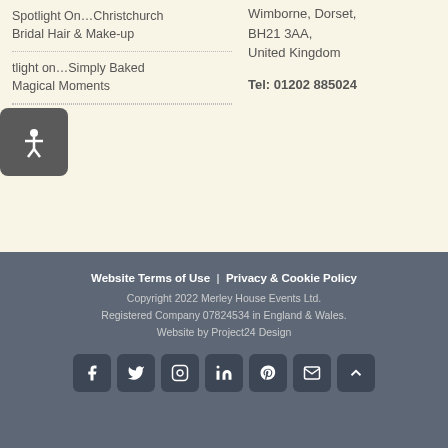Spotlight On...Christchurch Bridal Hair & Make-up
tlight on...Simply Baked Magical Moments
Wimborne, Dorset, BH21 3AA, United Kingdom
Tel: 01202 885024
Website Terms of Use | Privacy & Cookie Policy
Copyright 2022 Merley House Events Ltd.
Registered Company 07824534 in England & Wales.
Website by Project24 Design